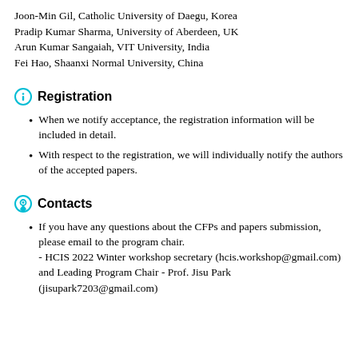Joon-Min Gil, Catholic University of Daegu, Korea
Pradip Kumar Sharma, University of Aberdeen, UK
Arun Kumar Sangaiah, VIT University, India
Fei Hao, Shaanxi Normal University, China
Registration
When we notify acceptance, the registration information will be included in detail.
With respect to the registration, we will individually notify the authors of the accepted papers.
Contacts
If you have any questions about the CFPs and papers submission, please email to the program chair.
- HCIS 2022 Winter workshop secretary (hcis.workshop@gmail.com) and Leading Program Chair - Prof. Jisu Park (jisupark7203@gmail.com)